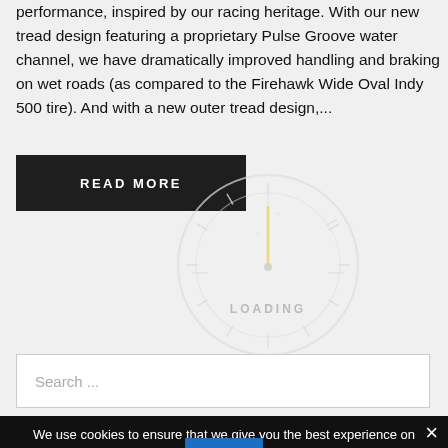performance, inspired by our racing heritage. With our new tread design featuring a proprietary Pulse Groove water channel, we have dramatically improved handling and braking on wet roads (as compared to the Firehawk Wide Oval Indy 500 tire). And with a new outer tread design,...
READ MORE
[Figure (other): Speedometer / gauge loading animation graphic with a circular dial, needle pointing up, and the text LOADING in the center]
Search ...
We use cookies to ensure that we give you the best experience on our website. If you continue to use this site we will assume that you
¿Cómo puedo ayudarte?